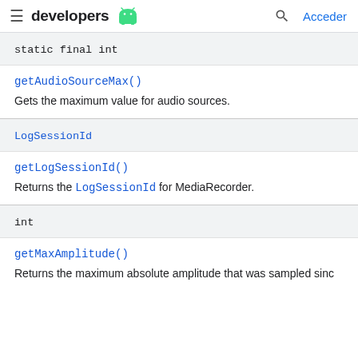developers [android logo] | [search] Acceder
| Type |
| --- |
| static final int |
getAudioSourceMax()
Gets the maximum value for audio sources.
| Type |
| --- |
| LogSessionId |
getLogSessionId()
Returns the LogSessionId for MediaRecorder.
| Type |
| --- |
| int |
getMaxAmplitude()
Returns the maximum absolute amplitude that was sampled sinc...